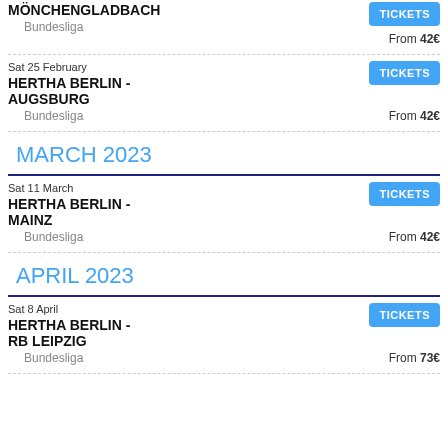MÖNCHENGLADBACH
Bundesliga
From 42€
Sat 25 February
HERTHA BERLIN - AUGSBURG
Bundesliga
From 42€
MARCH 2023
Sat 11 March
HERTHA BERLIN - MAINZ
Bundesliga
From 42€
APRIL 2023
Sat 8 April
HERTHA BERLIN - RB LEIPZIG
Bundesliga
From 73€